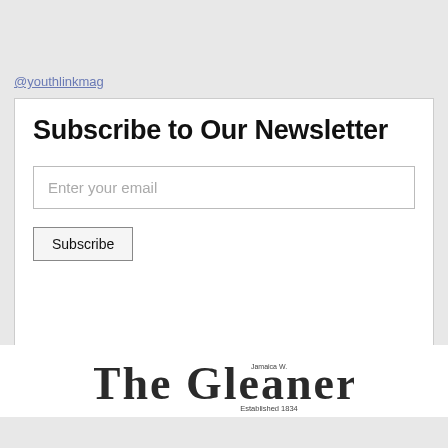@youthlinkmag
Subscribe to Our Newsletter
Enter your email
Subscribe
[Figure (logo): The Gleaner Jamaica W. Established 1834 newspaper logo in blackletter/Gothic font]